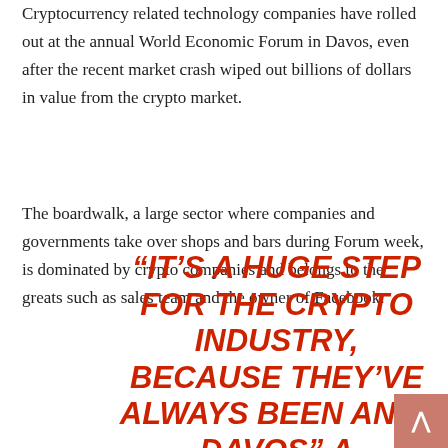Cryptocurrency related technology companies have rolled out at the annual World Economic Forum in Davos, even after the recent market crash wiped out billions of dollars in value from the crypto market.
The boardwalk, a large sector where companies and governments take over shops and bars during Forum week, is dominated by crypto companies and belongs to the greats such as sales team and the owner of Facebook.
“IT’S A HUGE STEP FOR THE CRYPTO INDUSTRY, BECAUSE THEY’VE ALWAYS BEEN ANTI-DAVOS” A DELEGATE